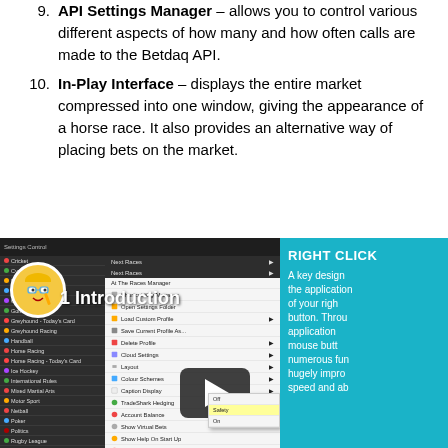9. API Settings Manager – allows you to control various different aspects of how many and how often calls are made to the Betdaq API.
10. In-Play Interface – displays the entire market compressed into one window, giving the appearance of a horse race. It also provides an alternative way of placing bets on the market.
[Figure (screenshot): Screenshot of a software application showing a right-click context menu with various options including Shortcut Key Manager, Open Settings Folder, Load Custom Profile, Save Current Profile As, Delete Profile, Cloud Settings, Layout, Colour Schemes, Caption Display, TradeShark Hedging, Account Balance, Show Virtual Bets, Show Help On Start Up, Confirm Application Close, Confirm Bets (highlighted, with submenu showing Off/Safety/On options), Profit Loss & Hedge Display, Market Close Warning. Left side shows a list of sports/markets. Right side shows a teal panel with 'RIGHT CLICK' heading and text about key design features. A video player overlay shows '1 Introduction' with a play button and avatar.]